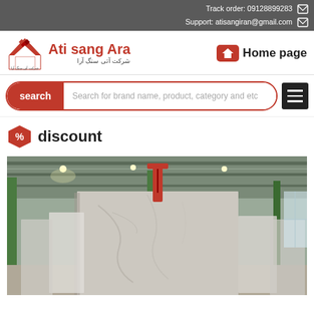Track order: 09128899283 | Support: atisangiran@gmail.com
Ati sang Ara
Home page
search - Search for brand name, product, category and etc
discount
[Figure (photo): Large marble slab in an industrial warehouse/factory setting. The slab is grey/white marble standing upright. Green metal structural beams and a metal roof visible in background. Other marble slabs visible on the sides.]